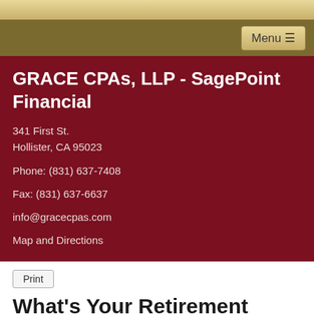GRACE CPAs, LLP - SagePoint Financial | 341 First St. Hollister, CA 95023 | Phone: (831) 637-7408 | Fax: (831) 637-6637 | info@gracecpas.com | Map and Directions
What's Your Retirement Dream Elevator Pitch?
Imagine stepping into an elevator and realizing that you're about to spend the 30-second ride with